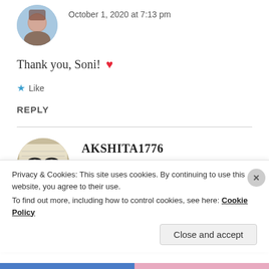[Figure (photo): Circular avatar of a person with blue background, partially cropped at top]
October 1, 2020 at 7:13 pm
Thank you, Soni! ❤
★ Like
REPLY
[Figure (photo): Circular avatar showing glasses on a book/text background]
AKSHITA1776
October 1, 2020 at 7:17 pm
Privacy & Cookies: This site uses cookies. By continuing to use this website, you agree to their use.
To find out more, including how to control cookies, see here: Cookie Policy
Close and accept